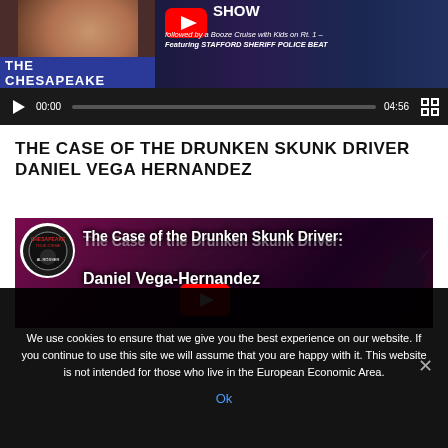[Figure (screenshot): Video player showing 'The Chesapeake' show thumbnail with YouTube logo, title 'SHOW followed by a Booze Cruise with Kids on Rt. 1 – Featuring STAFFORD SHERIFF POLICE BEAT'. Controls show 00:00 / 04:56.]
THE CASE OF THE DRUNKEN SKUNK DRIVER DANIEL VEGA HERNANDEZ
[Figure (screenshot): Video thumbnail for 'The Case of the Drunken Skunk Driver: Daniel Vega-Hernandez' with dark pink/red background, True Crime badge, bird silhouette, and YouTube play button.]
We use cookies to ensure that we give you the best experience on our website. If you continue to use this site we will assume that you are happy with it. This website is not intended for those who live in the European Economic Area.
Ok